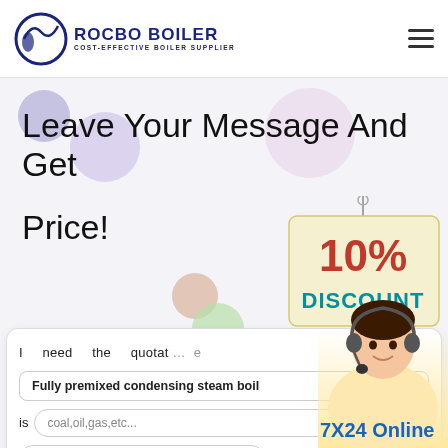ROCBO BOILER - COST-EFFECTIVE BOILER SUPPLIER
Leave Your Message And Get Price!
[Figure (illustration): 10% Discount sign with decorative bubbles and customer service representative]
I need the quotation of
Fully premixed condensing steam boil
is coal,oil,gas,etc... , this
eg:5ton/h or 5mw
7X24 Online